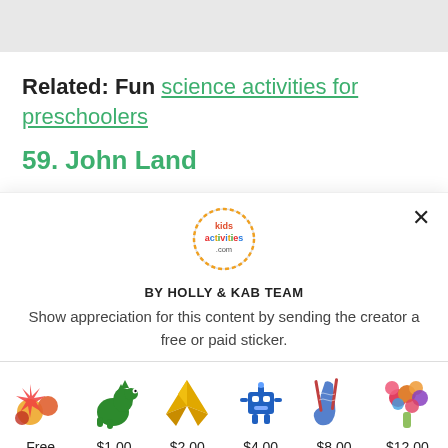Related: Fun science activities for preschoolers
59. John Land
[Figure (logo): Kids Activities .com circular logo with colorful text]
BY HOLLY & KAB TEAM
Show appreciation for this content by sending the creator a free or paid sticker.
| Sticker | Price |
| --- | --- |
| Free sticker emoji | Free |
| Dinosaur sticker | $1.00 |
| Origami crane sticker | $2.00 |
| Robot sticker | $4.00 |
| Sock sticker | $8.00 |
| Flower bouquet sticker | $12.00 |